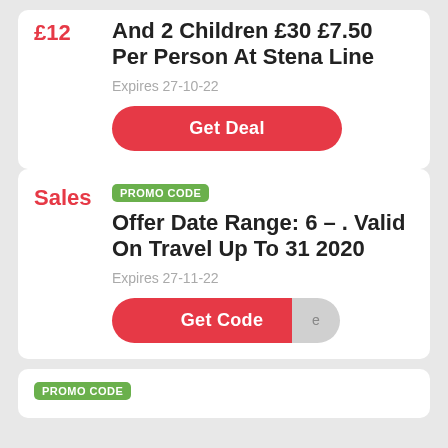And 2 Children £30 £7.50 Per Person At Stena Line
£12
Expires 27-10-22
Get Deal
PROMO CODE
Offer Date Range: 6 – . Valid On Travel Up To 31 2020
Sales
Expires 27-11-22
Get Code
PROMO CODE